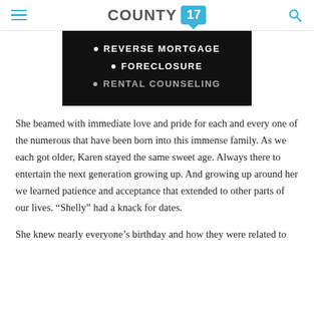COUNTY 17
[Figure (photo): Dark panel with bullet points listing: REVERSE MORTGAGE, FORECLOSURE, RENTAL COUNSELING on black background]
She beamed with immediate love and pride for each and every one of the numerous that have been born into this immense family. As we each got older, Karen stayed the same sweet age. Always there to entertain the next generation growing up. And growing up around her we learned patience and acceptance that extended to other parts of our lives. “Shelly” had a knack for dates.
She knew nearly everyone’s birthday and how they were related to